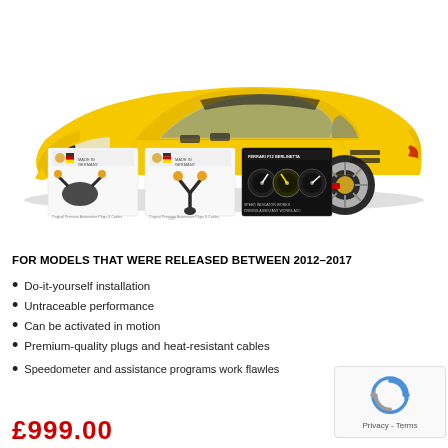[Figure (photo): Yellow Ferrari F12 Berlinetta sports car on white background, with three product thumbnail images below showing automotive plugs and cables with 'Made in Germany' badge, and a Ferrari F12 Berlinetta dashboard/instrument cluster reference image]
FOR MODELS THAT WERE RELEASED BETWEEN 2012–2017
Do-it-yourself installation
Untraceable performance
Can be activated in motion
Premium-quality plugs and heat-resistant cables
Speedometer and assistance programs work flawlessly
£999.00